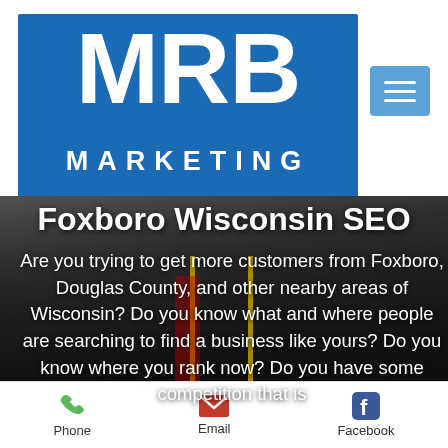[Figure (logo): MRB Marketing logo: blue rectangle with large white bold MRB text above, MARKETING in white spaced letters below, and a lighter blue hamburger menu button to the right]
Foxboro Wisconsin SEO
Are you trying to get more customers from Foxboro, Douglas County, and other nearby areas of Wisconsin? Do you know what and where people are searching to find a business like yours? Do you know where you rank now? Do you have some competition that is
Phone   Email   Facebook